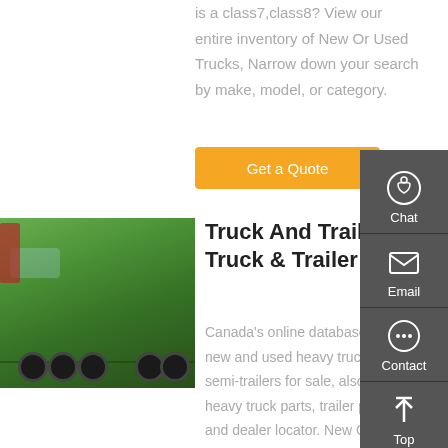is a class7,class8? View our entire inventory of New Or Used Trucks, Narrow down your search by make, model, or category.
Get a Quote
[Figure (photo): Green heavy duty truck/semi-truck parked, side view showing cab and flatbed trailer]
Truck And Trailer | Truck & Trailer
Canada's online database of new and used heavy trucks and semi-trailers for sale, also heavy truck parts, trailer parts and dealer locator. New OTHER 55